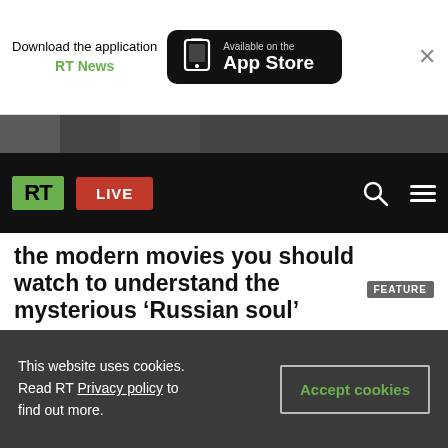[Figure (screenshot): App Store download banner for RT News application]
[Figure (screenshot): RT website navigation bar with green RT logo, red LIVE button, search and menu icons on black background]
the modern movies you should watch to understand the mysterious ‘Russian soul’
FEATURE
This website uses cookies. Read RT Privacy policy to find out more.
Accept cookies